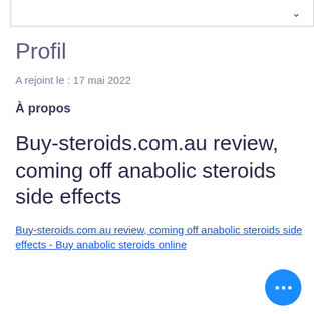Profil
A rejoint le : 17 mai 2022
À propos
Buy-steroids.com.au review, coming off anabolic steroids side effects
Buy-steroids.com.au review, coming off anabolic steroids side effects - Buy anabolic steroids online